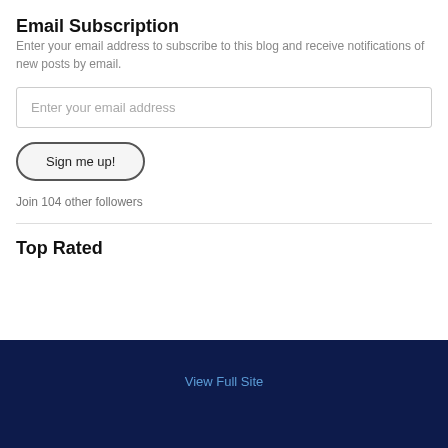Email Subscription
Enter your email address to subscribe to this blog and receive notifications of new posts by email.
Enter your email address
Sign me up!
Join 104 other followers
Top Rated
View Full Site